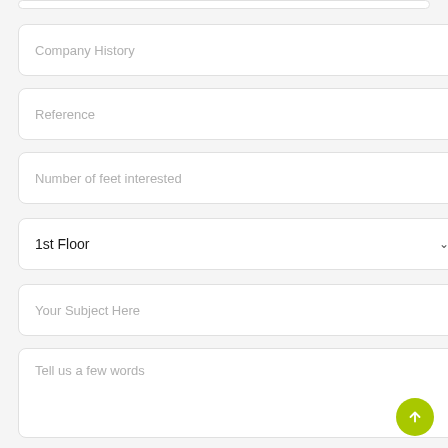[Figure (screenshot): Web form with multiple input fields: Company History (text input), Reference (text input), Number of feet interested (text input), 1st Floor (dropdown selector), Your Subject Here (text input), Tell us a few words (textarea). A green circular back-to-top button with an upward arrow is visible in the bottom right corner.]